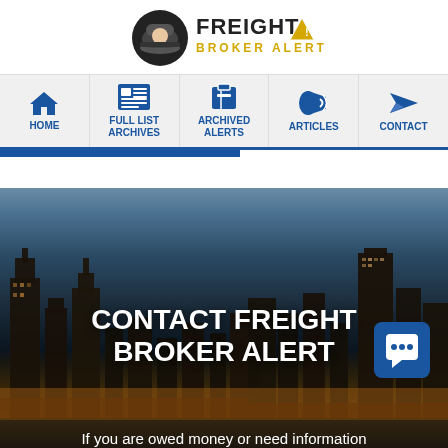[Figure (logo): Freight Broker Alert logo with detective icon, FREIGHT text in black bold, BROKER ALERT in gold, and yellow warning triangle]
[Figure (infographic): Navigation bar with 5 items: HOME (house icon), FULL LIST ARCHIVES (newspaper icon), ARCHIVED ALERTS (box icon), ARTICLES (megaphone icon), CONTACT (paper plane icon), all in blue on light gray background]
[Figure (photo): City skyline at dusk/night with CONTACT FREIGHT BROKER ALERT title text overlay and a blue chat bubble icon in the lower right. Bottom text reads: If you are owed money or need information]